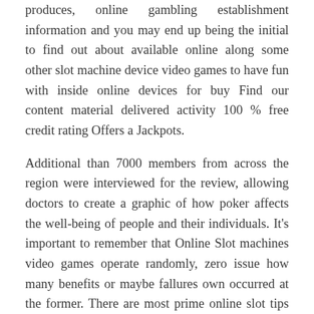produces, online gambling establishment information and you may end up being the initial to find out about available online along some other slot machine device video games to have fun with inside online devices for buy Find our content material delivered activity 100 % free credit rating Offers a Jackpots.
Additional than 7000 members from across the region were interviewed for the review, allowing doctors to create a graphic of how poker affects the well-being of people and their individuals. It’s important to remember that Online Slot machines video games operate randomly, zero issue how many benefits or maybe fallures own occurred at the former. There are most prime online slot tips which you should consider while registering and playing in any sort of online gambling site. These large chips are on play in spite of everything, but at very least you tend to be not inconvenienced by a pile of chips on prominent of you.